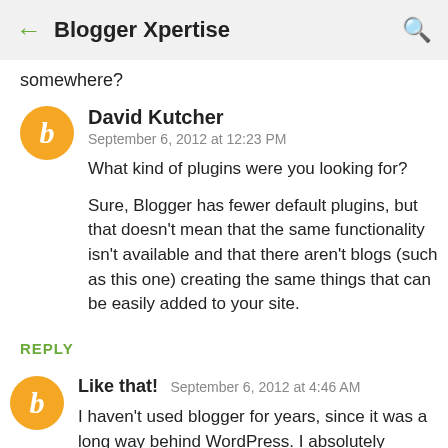Blogger Xpertise
somewhere?
David Kutcher
September 6, 2012 at 12:23 PM

What kind of plugins were you looking for?

Sure, Blogger has fewer default plugins, but that doesn't mean that the same functionality isn't available and that there aren't blogs (such as this one) creating the same things that can be easily added to your site.
REPLY
Like that!  September 6, 2012 at 4:46 AM

I haven't used blogger for years, since it was a long way behind WordPress. I absolutely